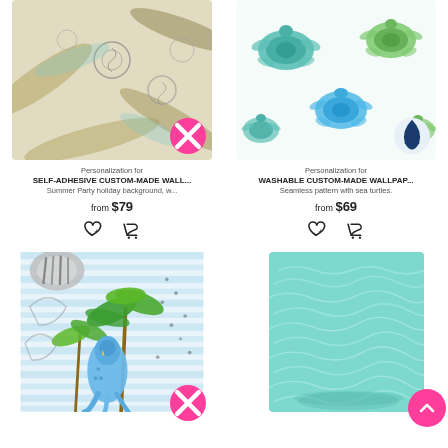[Figure (photo): Tropical summer party background wallpaper with shells and palm leaves, self-adhesive, with pink X badge]
Personalization for
SELF-ADHESIVE CUSTOM-MADE WALL...
Summer Party holiday background, w...
from $79
[Figure (photo): Seamless pattern wallpaper with sea turtles, washable custom-made, with blue water drop badge]
Personalization for
WASHABLE CUSTOM-MADE WALLPAP...
Seamless pattern with sea turtles.
from $69
[Figure (photo): Tropical parrot and palm trees on blue stripe background wallpaper with pink X badge]
[Figure (photo): Teal/aqua solid wavy texture wallpaper roll, with pink scroll-to-top button]